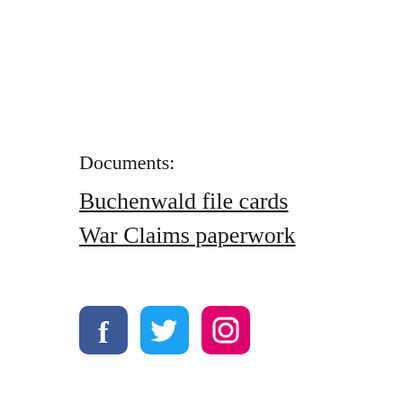Documents:
Buchenwald file cards
War Claims paperwork
[Figure (infographic): Three social media icons: Facebook (dark blue), Twitter (light blue), Instagram (pink/magenta)]